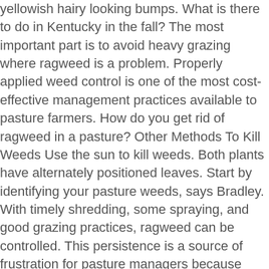yellowish hairy looking bumps. What is there to do in Kentucky in the fall? The most important part is to avoid heavy grazing where ragweed is a problem. Properly applied weed control is one of the most cost-effective management practices available to pasture farmers. How do you get rid of ragweed in a pasture? Other Methods To Kill Weeds Use the sun to kill weeds. Both plants have alternately positioned leaves. Start by identifying your pasture weeds, says Bradley. With timely shredding, some spraying, and good grazing practices, ragweed can be controlled. This persistence is a source of frustration for pasture managers because broomsedge is difficult to get rid of once it is established. Common ragweed has both male and female flowers. Sage grass (Broomsedge bluestem) is a native plant of the Midwest plains, has a copper color in the fall and winter, and is sometimes grown in the home landscape as an ornamental. How do I get rid of weeds in my cow pasture? Grandpa used to tell us about a drought in the 30s or 40s where they would take wagons and go to the river and cut ragweed for the livestock